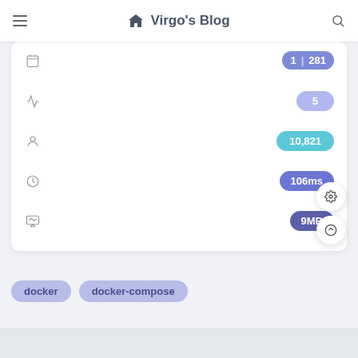Virgo's Blog
[Figure (screenshot): Dashboard stats panel showing calendar icon with badge '1 281', activity icon with badge '5', person icon with badge '10,821', clock icon with badge '106ms', monitor icon with badge '9MB'. Two floating action buttons (gear and up-arrow) visible on right side.]
docker
docker-compose